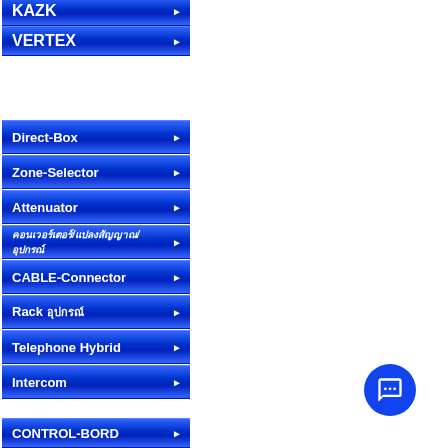KAZK
VERTEX
Direct-Box
Zone-Selector
Attenuator
คอนเวอร์เตอร์/แปลงสัญญาณ/อุปกรณ์
CABLE-Connector
Rack อุปกรณ์
Telephone Hybrid
Intercom
CONTROL-BORD